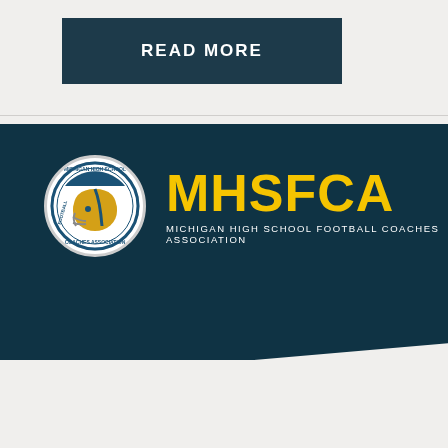READ MORE
[Figure (logo): MHSFCA - Michigan High School Football Coaches Association logo with gold text and circular football helmet emblem on dark teal background]
FRANK SORRELL
Frank Sorrel Honorary Membership Award Frank Sorrel has been a loyal and devoted worker for the eastside Raiders of the Det. Police Athletic league for over 40 years. Frank has mentor many young men ad families